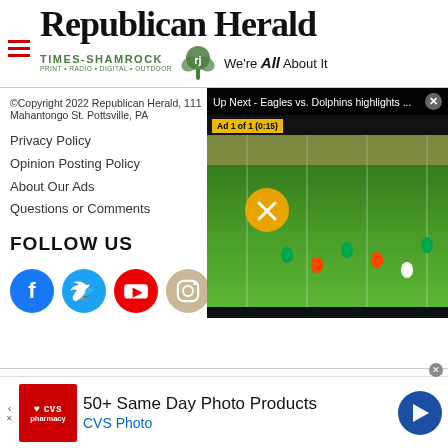[Figure (logo): Republican Herald newspaper masthead with Times-Shamrock logo and 'We're All About It' tagline]
© Copyright 2022 Republican Herald, 111 Mahantongo St. Pottsville, PA
Privacy Policy
Opinion Posting Policy
About Our Ads
Questions or Comments
FOLLOW US
[Figure (illustration): Social media icons: Facebook, Twitter, YouTube, Instagram]
[Figure (screenshot): Video player showing 'Up Next - Eagles vs. Dolphins highlights ...' with NFL game footage, mute button visible, Ad 1 of 1 (0:15) label]
[Figure (illustration): CVS Pharmacy advertisement: '50+ Same Day Photo Products, CVS Photo' with CVS logo and navigation arrow icon]